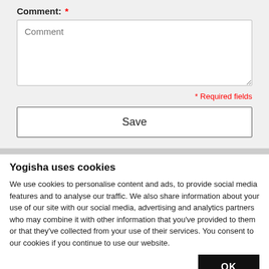Comment: * Required fields
Save
Yogisha uses cookies
We use cookies to personalise content and ads, to provide social media features and to analyse our traffic. We also share information about your use of our site with our social media, advertising and analytics partners who may combine it with other information that you've provided to them or that they've collected from your use of their services. You consent to our cookies if you continue to use our website.
OK
Necessary Preferences Statistics Marketing Show details